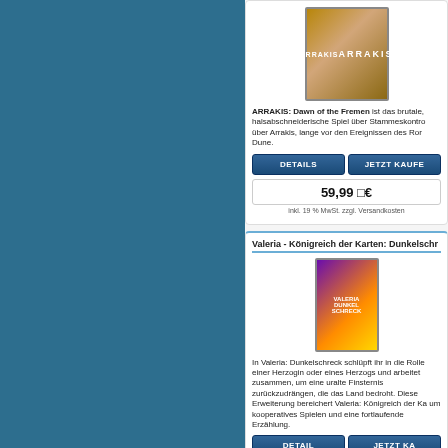[Figure (screenshot): Blue sidebar panel on the left side of the page]
[Figure (photo): Arrakis board game box cover showing a figure in a desert landscape]
ARRAKIS: Dawn of the Fremen ist das brutale, halsabschneiderische Spiel über Stammeskontrolle über Arrakis, lange vor den Ereignissen des Romans Dune.
DETAILS
JETZT KAUFE
59,99 □€
inkl. 19 % MwSt. zzgl. Versandkosten
Valeria - Königreich der Karten: Dunkelschr
[Figure (photo): Valeria card game box cover with fantasy artwork]
In Valeria: Dunkelschreck schlüpft ihr in die Rolle einer Herzogin oder eines Herzogs und arbeitet zusammen, um eine uralte Finsternis zurückzudrängen, die das Land bedroht. Diese Erweiterung bereichert Valeria: Königreich der Ka um kooperatives Spielen und eine fortlaufende Erzählung.